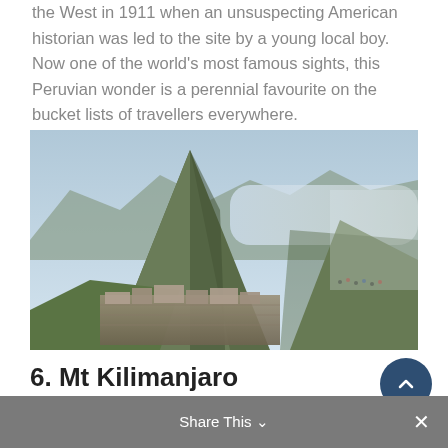the West in 1911 when an unsuspecting American historian was led to the site by a young local boy. Now one of the world's most famous sights, this Peruvian wonder is a perennial favourite on the bucket lists of travellers everywhere.
[Figure (photo): Aerial view of Machu Picchu ruins with dramatic mountain peaks in the background, lush green terraces and stone structures visible, people visible on the right side of the image]
6. Mt Kilimanjaro
The highest mountain in Africa – and the highest free-
Share This